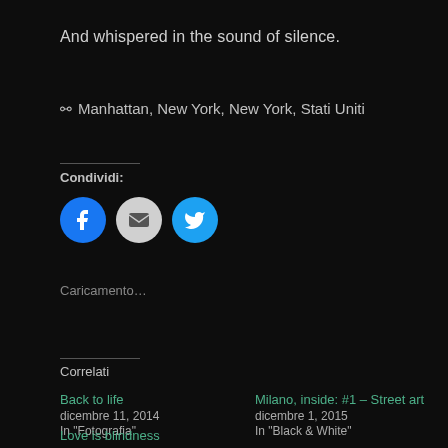And whispered in the sound of silence.
📍 Manhattan, New York, New York, Stati Uniti
Condividi:
[Figure (other): Three social share icon buttons: Facebook (blue circle with f logo), Email (grey circle with envelope icon), Twitter (cyan circle with bird logo)]
Caricamento...
Correlati
Back to life
dicembre 11, 2014
In "Fotografia"
Milano, inside: #1 – Street art
dicembre 1, 2015
In "Black & White"
Love is blindness